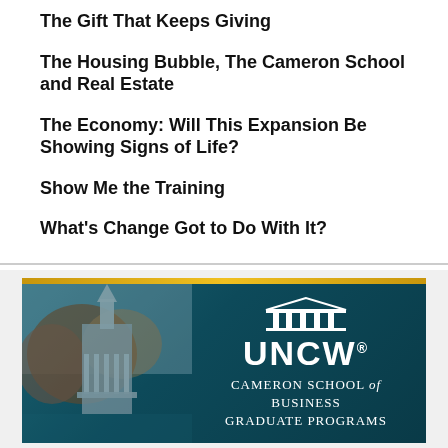The Gift That Keeps Giving
The Housing Bubble, The Cameron School and Real Estate
The Economy: Will This Expansion Be Showing Signs of Life?
Show Me the Training
What's Change Got to Do With It?
[Figure (logo): UNCW Cameron School of Business Graduate Programs banner with building silhouette on teal background and gold top bar]